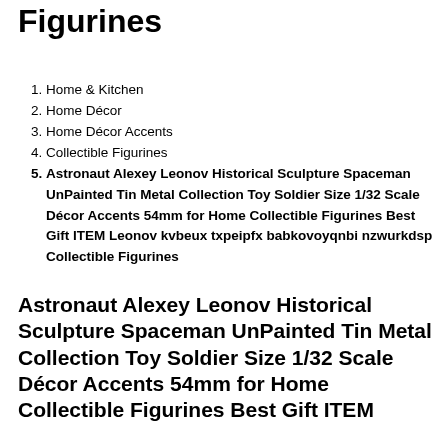Figurines
Home & Kitchen
Home Décor
Home Décor Accents
Collectible Figurines
Astronaut Alexey Leonov Historical Sculpture Spaceman UnPainted Tin Metal Collection Toy Soldier Size 1/32 Scale Décor Accents 54mm for Home Collectible Figurines Best Gift ITEM Leonov kvbeux txpeipfx babkovoyqnbi nzwurkdsp Collectible Figurines
Astronaut Alexey Leonov Historical Sculpture Spaceman UnPainted Tin Metal Collection Toy Soldier Size 1/32 Scale Décor Accents 54mm for Home Collectible Figurines Best Gift ITEM